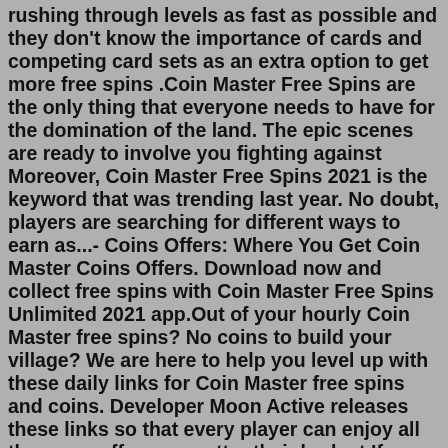rushing through levels as fast as possible and they don't know the importance of cards and competing card sets as an extra option to get more free spins .Coin Master Free Spins are the only thing that everyone needs to have for the domination of the land. The epic scenes are ready to involve you fighting against Moreover, Coin Master Free Spins 2021 is the keyword that was trending last year. No doubt, players are searching for different ways to earn as...- Coins Offers: Where You Get Coin Master Coins Offers. Download now and collect free spins with Coin Master Free Spins Unlimited 2021 app.Out of your hourly Coin Master free spins? No coins to build your village? We are here to help you level up with these daily links for Coin Master free spins and coins. Developer Moon Active releases these links so that every player can enjoy all the game offers no matter their budget.If you're looking Coin Master Free Spins Links Daily, Here The Free Spins for you. We always Update every day when the developer from Coin Master Game Developers Drop Their Link. We